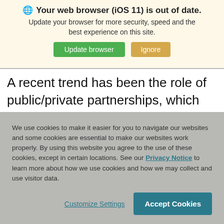🌐 Your web browser (iOS 11) is out of date.
Update your browser for more security, speed and the best experience on this site.
A recent trend has been the role of public/private partnerships, which allow local colleges and universities to partner with private developers to build new on-campus student housing developments, thereby
We use cookies to make it easier for you to navigate our websites and some cookies are essential to make our websites work properly. By using this website you agree to the use of these cookies, except in certain locations. See our Privacy Notice to learn more about how we use cookies and how we may collect and use visitor data.